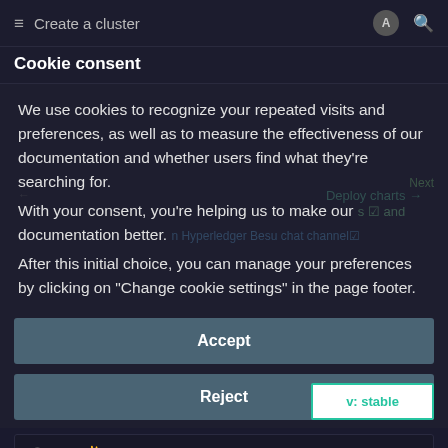Create a cluster
Cookie consent
We use cookies to recognize your repeated visits and preferences, as well as to measure the effectiveness of our documentation and whether users find what they're searching for.
With your consent, you're helping us to make our documentation better.
After this initial choice, you can manage your preferences by clicking on "Change cookie settings" in the page footer.
Accept
Reject
v: stable
Manage settings